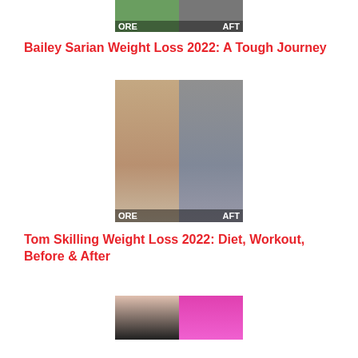[Figure (photo): Before and after weight loss photo — partial crop showing 'ORE' and 'AFT' labels]
Bailey Sarian Weight Loss 2022: A Tough Journey
[Figure (photo): Before and after photos of Tom Skilling showing weight loss transformation with 'ORE' and 'AFT' labels]
Tom Skilling Weight Loss 2022: Diet, Workout, Before & After
[Figure (photo): Before and after photo showing a woman's weight loss transformation]